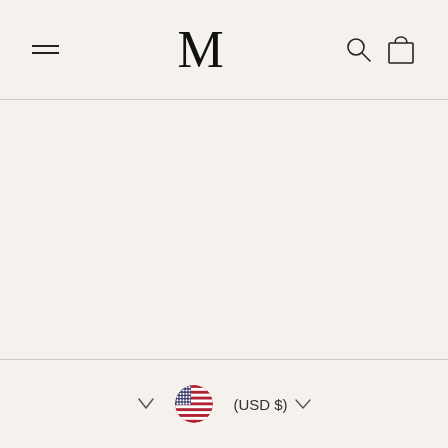M (logo with hamburger menu, search, and cart icons)
[Figure (screenshot): E-commerce website screenshot showing a minimal header with hamburger menu on the left, large M logo in center, search and cart icons on the right. Below is a mostly blank product content area with a divider line, a dropdown chevron, another divider, and a footer with a US flag, USD currency selector.]